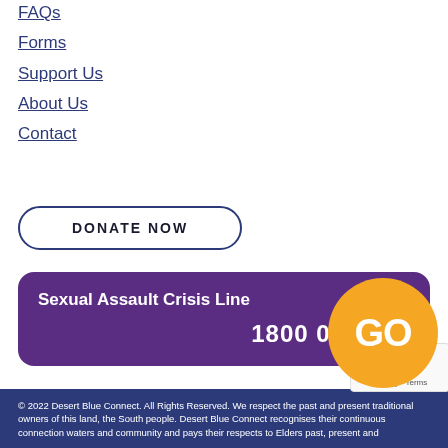FAQs
Forms
Support Us
About Us
Contact
DONATE NOW
Sexual Assault Crisis Line
1800 016 789
[Figure (logo): Orange circle with text 'GO' in white]
[Figure (screenshot): reCAPTCHA widget showing Privacy and Terms]
© 2022 Desert Blue Connect. All Rights Reserved. We respect the past and present traditional owners of this land, the South people. Desert Blue Connect recognises their continuous connection waters and community and pays their respects to Elders past, present and